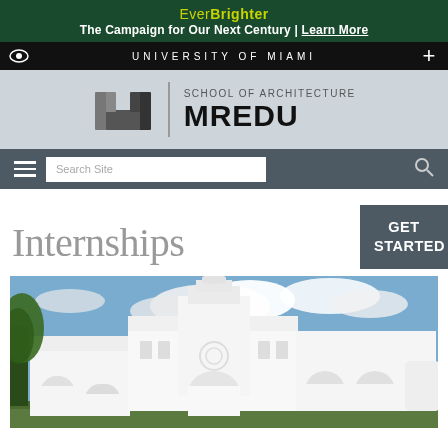Ever Brighter — The Campaign for Our Next Century | Learn More
UNIVERSITY OF MIAMI
[Figure (logo): University of Miami School of Architecture MREDU logo with UM mark and text]
Search Site navigation bar with hamburger menu and search icon
Internships
[Figure (photo): White modernist building with arches and circular tower elements against blue cloudy sky, with green trees on left]